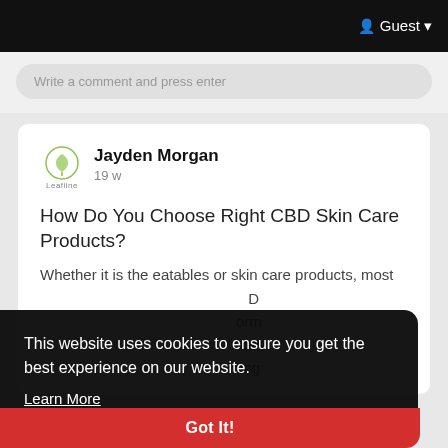Guest
Write a comment and press enter
Jayden Morgan
19 w
How Do You Choose Right CBD Skin Care Products?
Whether it is the eatables or skin care products, most ... D ... orm ... oes ... ing
This website uses cookies to ensure you get the best experience on our website.
Learn More
Got It!